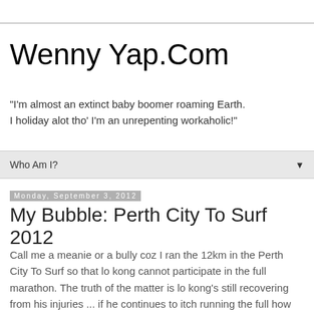Wenny Yap.Com
"I'm almost an extinct baby boomer roaming Earth. I holiday alot tho' I'm an unrepenting workaholic!"
Who Am I? ▼
Monday, September 3, 2012
My Bubble: Perth City To Surf 2012
Call me a meanie or a bully coz I ran the 12km in the Perth City To Surf so that lo kong cannot participate in the full marathon. The truth of the matter is lo kong's still recovering from his injuries ...  if he continues to itch running the full how will he ever recover totally?